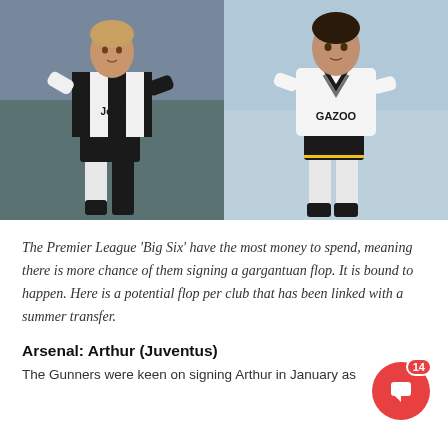[Figure (photo): Two football players side by side: left player in Juventus black and white striped jersey with Jeep sponsor, right player in Everton white jersey with GAZOO sponsor]
The Premier League ‘Big Six’ have the most money to spend, meaning there is more chance of them signing a gargantuan flop. It is bound to happen. Here is a potential flop per club that has been linked with a summer transfer.
Arsenal: Arthur (Juventus)
The Gunners were keen on signing Arthur in January as